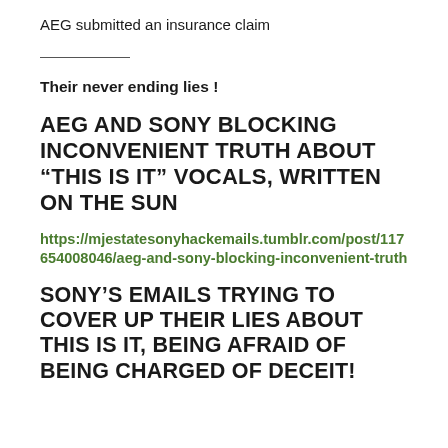AEG submitted an insurance claim
Their never ending lies !
AEG AND SONY BLOCKING INCONVENIENT TRUTH ABOUT “THIS IS IT” VOCALS, WRITTEN ON THE SUN
https://mjestatesonyhackemails.tumblr.com/post/117654008046/aeg-and-sony-blocking-inconvenient-truth
SONY’S EMAILS TRYING TO COVER UP THEIR LIES ABOUT THIS IS IT, BEING AFRAID OF BEING CHARGED OF DECEIT!